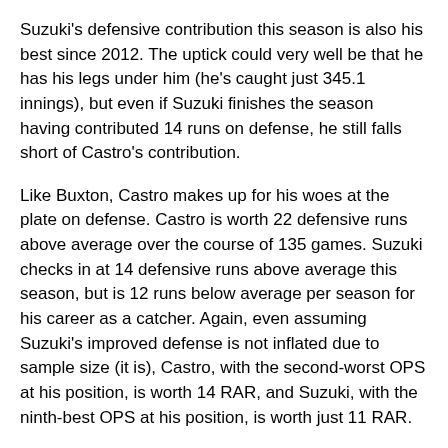Suzuki's defensive contribution this season is also his best since 2012. The uptick could very well be that he has his legs under him (he's caught just 345.1 innings), but even if Suzuki finishes the season having contributed 14 runs on defense, he still falls short of Castro's contribution.
Like Buxton, Castro makes up for his woes at the plate on defense. Castro is worth 22 defensive runs above average over the course of 135 games. Suzuki checks in at 14 defensive runs above average this season, but is 12 runs below average per season for his career as a catcher. Again, even assuming Suzuki's improved defense is not inflated due to sample size (it is), Castro, with the second-worst OPS at his position, is worth 14 RAR, and Suzuki, with the ninth-best OPS at his position, is worth just 11 RAR.
Furthermore, if we consider the performance of Twins' catchers last year compared to this year, the net gain for the Twins is 28 fielding runs above average. That would account for almost a third of the Twins' improvement, bringing our rough total to 45 runs of improvement.